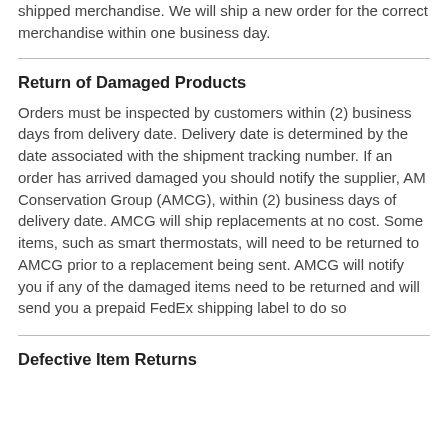shipped merchandise. We will ship a new order for the correct merchandise within one business day.
Return of Damaged Products
Orders must be inspected by customers within (2) business days from delivery date. Delivery date is determined by the date associated with the shipment tracking number. If an order has arrived damaged you should notify the supplier, AM Conservation Group (AMCG), within (2) business days of delivery date. AMCG will ship replacements at no cost. Some items, such as smart thermostats, will need to be returned to AMCG prior to a replacement being sent. AMCG will notify you if any of the damaged items need to be returned and will send you a prepaid FedEx shipping label to do so
Defective Item Returns